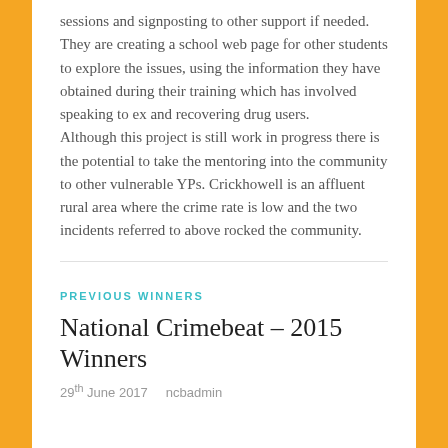sessions and signposting to other support if needed. They are creating a school web page for other students to explore the issues, using the information they have obtained during their training which has involved speaking to ex and recovering drug users. Although this project is still work in progress there is the potential to take the mentoring into the community to other vulnerable YPs. Crickhowell is an affluent rural area where the crime rate is low and the two incidents referred to above rocked the community.
PREVIOUS WINNERS
National Crimebeat – 2015 Winners
29th June 2017   ncbadmin